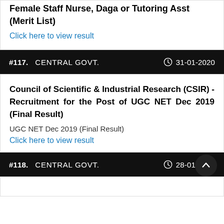Female Staff Nurse, Daga or Tutoring Asst (Merit List)
Click here to view result
#117.   CENTRAL GOVT.   31-01-2020
Council of Scientific & Industrial Research (CSIR) - Recruitment for the Post of UGC NET Dec 2019 (Final Result)
UGC NET Dec 2019 (Final Result)
Click here to view result
#118.   CENTRAL GOVT.   28-01-2020